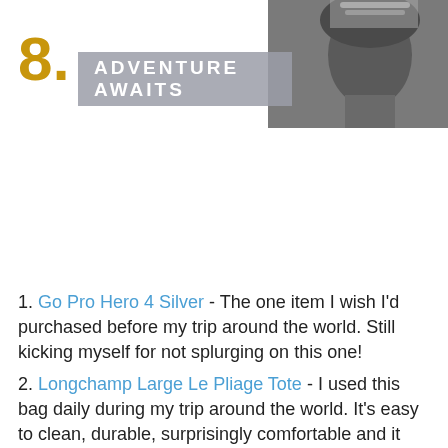[Figure (photo): A black and white photo of a person with a decorative headpiece, partially cropped on the right side of the header.]
8. ADVENTURE AWAITS
1. Go Pro Hero 4 Silver - The one item I wish I'd purchased before my trip around the world. Still kicking myself for not splurging on this one!
2. Longchamp Large Le Pliage Tote - I used this bag daily during my trip around the world. It's easy to clean, durable, surprisingly comfortable and it folds into the size of an envelope making it easy to pack.